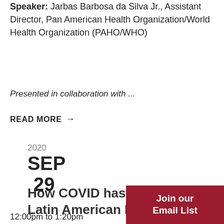Speaker: Jarbas Barbosa da Silva Jr., Assistant Director, Pan American Health Organization/World Health Organization (PAHO/WHO)
Presented in collaboration with ...
READ MORE →
2020 SEP 29
How COVID has Chang... Latin American Econom...
12:00pm to 1:20pm
Join our Email List